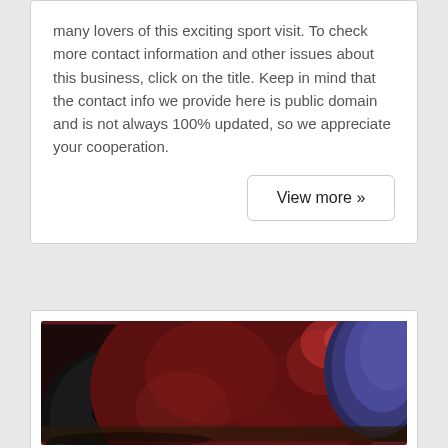many lovers of this exciting sport visit. To check more contact information and other issues about this business, click on the title. Keep in mind that the contact info we provide here is public domain and is not always 100% updated, so we appreciate your cooperation.
View more »
[Figure (photo): Close-up photo of a red/maroon cosmic bowling ball with 'Cosmic Bowling' text engraved on its surface in neon outline lettering. Another blue bowling ball is partially visible in the background on the right.]